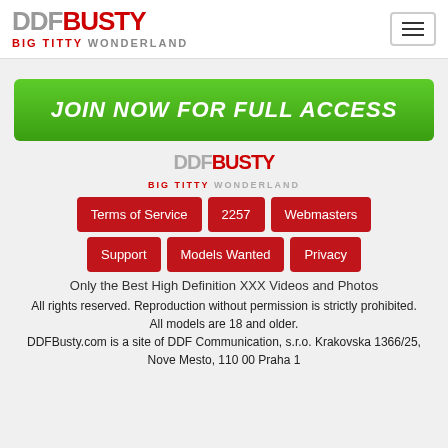[Figure (logo): DDF Busty logo with Big Titty Wonderland tagline and hamburger menu button]
JOIN NOW FOR FULL ACCESS
[Figure (logo): DDF Busty footer logo with Big Titty Wonderland tagline]
Terms of Service
2257
Webmasters
Support
Models Wanted
Privacy
Only the Best High Definition XXX Videos and Photos
All rights reserved. Reproduction without permission is strictly prohibited. All models are 18 and older. DDFBusty.com is a site of DDF Communication, s.r.o. Krakovska 1366/25, Nove Mesto, 110 00 Praha 1